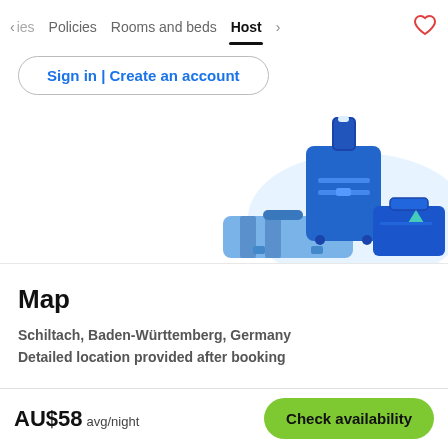< ies   Policies   Rooms and beds   Host   >   ♡
Sign in | Create an account
[Figure (illustration): Illustration of travel luggage — a tall blue rolling suitcase, a classic blue travel case with a tag, and a flat blue duffel bag with stripes, set against a light blue oval background shape.]
Map
Schiltach, Baden-Württemberg, Germany
Detailed location provided after booking
AU$58 avg/night
Check availability